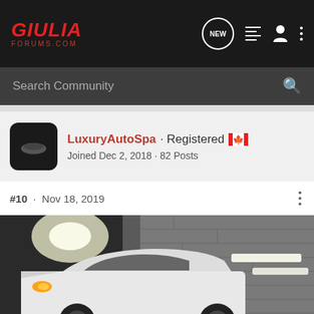GIULIA FORUMS.COM
Search Community
LuxuryAutoSpa · Registered · Joined Dec 2, 2018 · 82 Posts
#10 · Nov 18, 2019
[Figure (photo): White Alfa Romeo Giulia sedan parked inside a garage with concrete block walls and fluorescent strip lights on the wall]